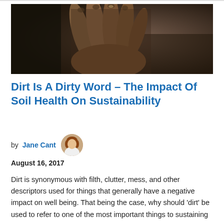[Figure (photo): Close-up photograph of dirty hands covered in dark soil/mud, fingers pressed together]
Dirt Is A Dirty Word – The Impact Of Soil Health On Sustainability
by Jane Cant  August 16, 2017
Dirt is synonymous with filth, clutter, mess, and other descriptors used for things that generally have a negative impact on well being. That being the case, why should 'dirt' be used to refer to one of the most important things to sustaining